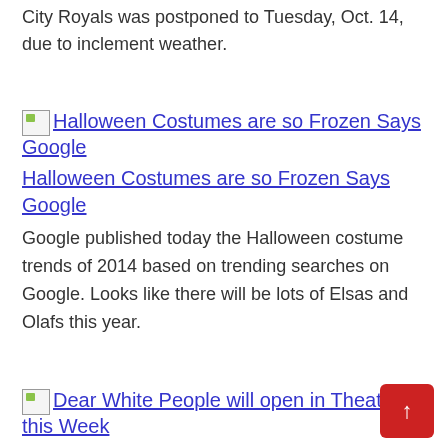City Royals was postponed to Tuesday, Oct. 14, due to inclement weather.
[Figure (other): Broken image placeholder for Halloween Costumes are so Frozen Says Google article thumbnail]
Halloween Costumes are so Frozen Says Google
Google published today the Halloween costume trends of 2014 based on trending searches on Google. Looks like there will be lots of Elsas and Olafs this year.
[Figure (other): Broken image placeholder for Dear White People will open in Theaters this Week article thumbnail]
Dear White People will open in Theaters this Week
The satire Dear White People trailer is here and the movie will start hitting theaters on October 17 in select cities.